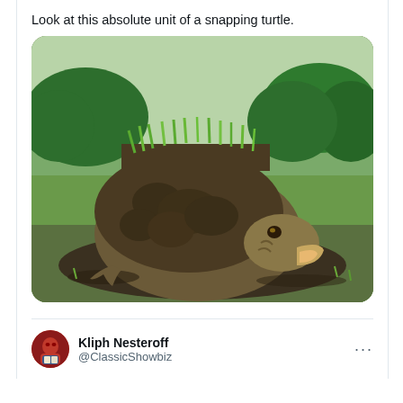Look at this absolute unit of a snapping turtle.
[Figure (photo): A large snapping turtle covered in mud and moss/grass growing on its shell, photographed outdoors on muddy ground with trees in background. The turtle's shell is almost entirely obscured by dirt and vegetation.]
Kliph Nesteroff
@ClassicShowbiz